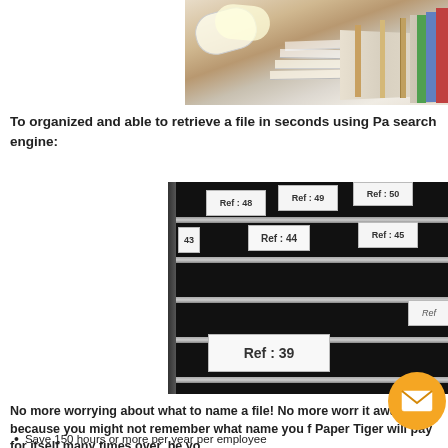[Figure (photo): Photo of messy stacked papers and files on a desk, partially visible at top right]
To organized and able to retrieve a file in seconds using Pa search engine:
[Figure (photo): Photo of organized filing system with labeled file tabs showing Ref numbers: 39, 43, 44, 45, 48, 49, 50]
No more worrying about what to name a file! No more worr it away because you might not remember what name you f Paper Tiger will pay for itself many times over, be yo
Save 150 hours or more per year per employee